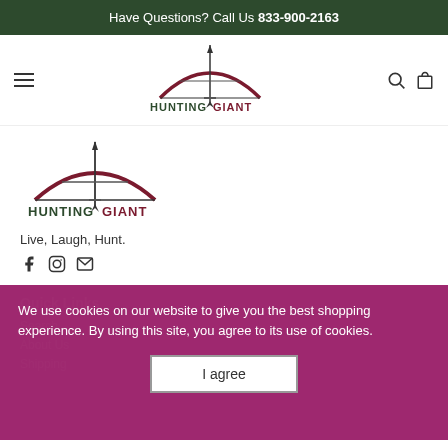Have Questions? Call Us 833-900-2163
[Figure (logo): HuntingGiant logo with bow and arrow in nav bar]
[Figure (logo): HuntingGiant logo with bow and arrow, larger version in main content]
Live, Laugh, Hunt.
[Figure (infographic): Social media icons: Facebook, Instagram, Email]
Quick Links
Search
About Us
Shipping
We use cookies on our website to give you the best shopping experience. By using this site, you agree to its use of cookies.
I agree